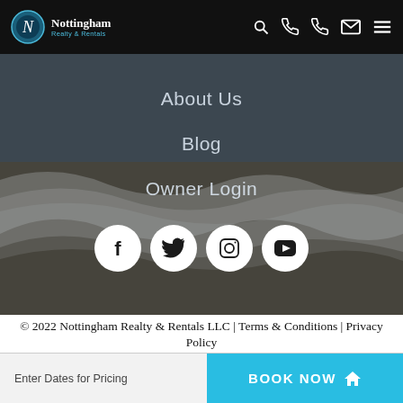Nottingham Realty & Rentals
About Us
Blog
Owner Login
[Figure (illustration): Four white social media icons on circular white backgrounds: Facebook, Twitter, Instagram, YouTube]
© 2022 Nottingham Realty & Rentals LLC | Terms & Conditions | Privacy Policy
Enter Dates for Pricing
BOOK NOW